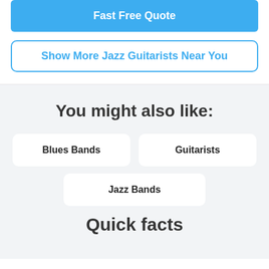Fast Free Quote
Show More Jazz Guitarists Near You
You might also like:
Blues Bands
Guitarists
Jazz Bands
Quick facts